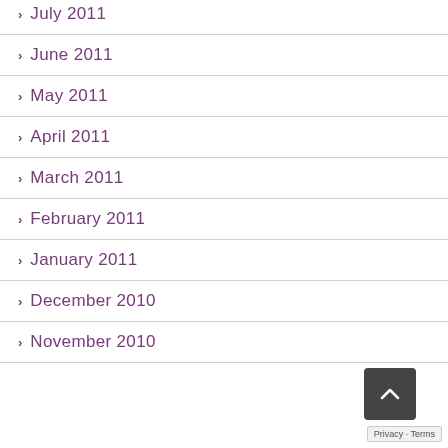July 2011
June 2011
May 2011
April 2011
March 2011
February 2011
January 2011
December 2010
November 2010